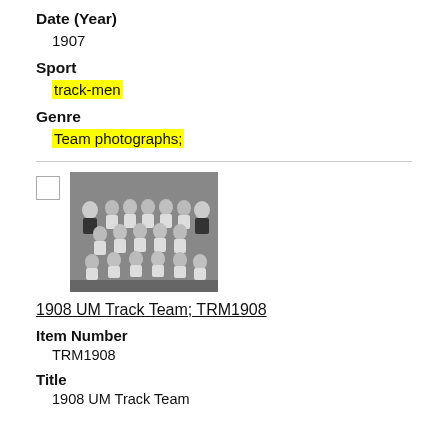Date (Year)
1907
Sport
track-men
Genre
Team photographs;
[Figure (photo): Black and white photograph of the 1908 UM Track Team, showing multiple rows of athletes in athletic uniforms with two men in suits on the sides.]
1908 UM Track Team; TRM1908
Item Number
TRM1908
Title
1908 UM Track Team